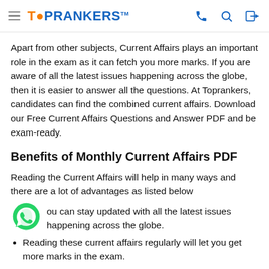TOPRANKERS
Apart from other subjects, Current Affairs plays an important role in the exam as it can fetch you more marks. If you are aware of all the latest issues happening across the globe, then it is easier to answer all the questions. At Toprankers, candidates can find the combined current affairs. Download our Free Current Affairs Questions and Answer PDF and be exam-ready.
Benefits of Monthly Current Affairs PDF
Reading the Current Affairs will help in many ways and there are a lot of advantages as listed below
You can stay updated with all the latest issues happening across the globe.
Reading these current affairs regularly will let you get more marks in the exam.